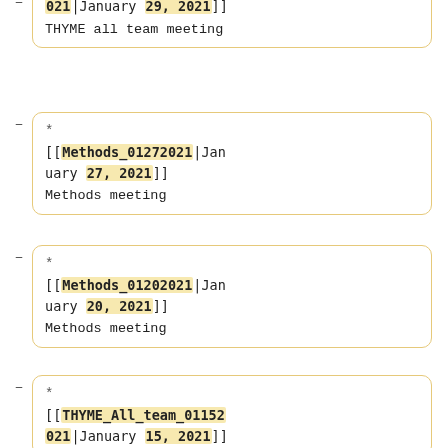[[THYME_All_team_01292021|January 29, 2021]] THYME all team meeting
[[Methods_01272021|January 27, 2021]] Methods meeting
[[Methods_01202021|January 20, 2021]] Methods meeting
[[THYME_All_team_01152021|January 15, 2021]] THYME all team meeting
[[Methods_01132021|January 13, 2021]] Methods meeting